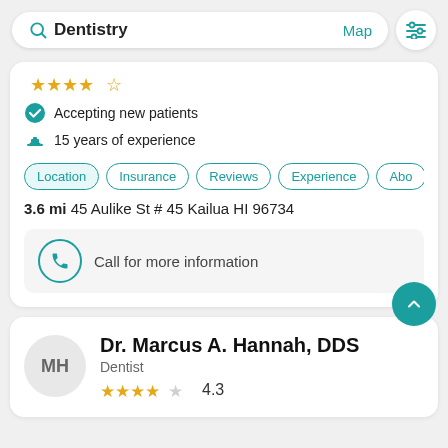[Figure (screenshot): Search bar with 'Dentistry' text, Map link, and filter icon]
Accepting new patients
15 years of experience
Location | Insurance | Reviews | Experience | Abo
3.6 mi 45 Aulike St # 45 Kailua HI 96734
Call for more information
Dr. Marcus A. Hannah, DDS
Dentist
4.3